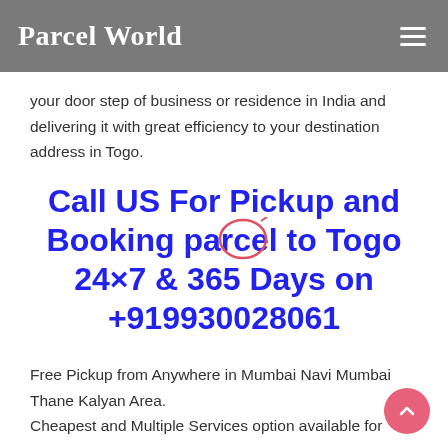Parcel World
your door step of business or residence in India and delivering it with great efficiency to your destination address in Togo.
Call US For Pickup and Booking parcel to Togo 24×7 & 365 Days on +919930028061
Free Pickup from Anywhere in Mumbai Navi Mumbai Thane Kalyan Area.
Cheapest and Multiple Services option available for Courier to Togo.